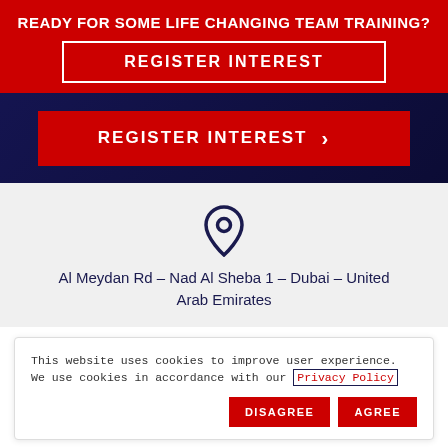READY FOR SOME LIFE CHANGING TEAM TRAINING?
REGISTER INTEREST
REGISTER INTEREST
[Figure (other): Location pin / map marker icon in dark navy blue]
Al Meydan Rd – Nad Al Sheba 1 – Dubai – United Arab Emirates
This website uses cookies to improve user experience. We use cookies in accordance with our Privacy Policy
DISAGREE
AGREE